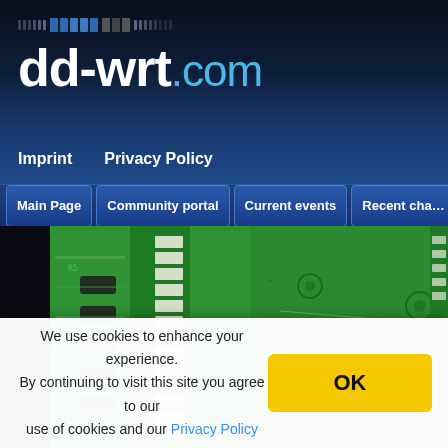[Figure (screenshot): dd-wrt.com website header with logo, navigation links (Imprint, Privacy Policy), tab navigation buttons (Main Page, Community portal, Current events, Recent changes), and a close-up photo of a green PCB circuit board]
We use cookies to enhance your experience. By continuing to visit this site you agree to our use of cookies and our Privacy Policy
OK